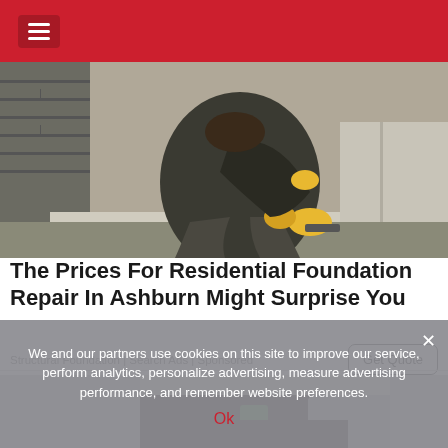≡
[Figure (photo): Person wearing yellow gloves kneeling and applying sealant or coating to a concrete foundation surface outdoors]
The Prices For Residential Foundation Repair In Ashburn Might Surprise You
Structural Foundation | Search Ads | Sponsored
Get Quote
[Figure (photo): Partial view of a person with dark hair near a surface with green element, bottom of page]
We and our partners use cookies on this site to improve our service, perform analytics, personalize advertising, measure advertising performance, and remember website preferences.
Ok